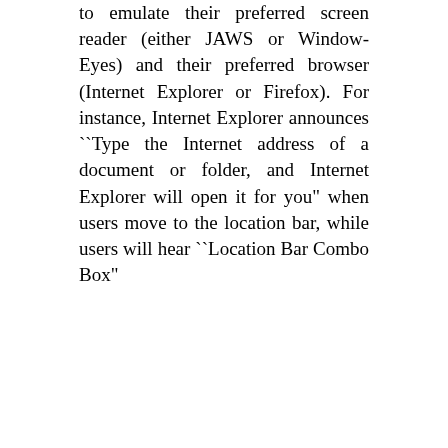to emulate their preferred screen reader (either JAWS or Window-Eyes) and their preferred browser (Internet Explorer or Firefox). For instance, Internet Explorer announces ``Type the Internet address of a document or folder, and Internet Explorer will open it for you" when users move to the location bar, while users will hear ``Location Bar Combo Box"